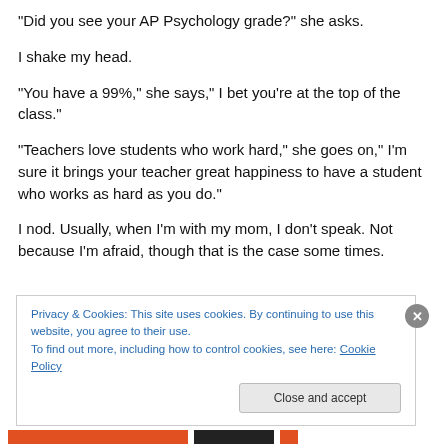“Did you see your AP Psychology grade?” she asks.
I shake my head.
“You have a 99%,” she says,” I bet you’re at the top of the class.”
“Teachers love students who work hard,” she goes on,” I’m sure it brings your teacher great happiness to have a student who works as hard as you do.”
I nod. Usually, when I’m with my mom, I don’t speak. Not because I’m afraid, though that is the case some times.
Privacy & Cookies: This site uses cookies. By continuing to use this website, you agree to their use.
To find out more, including how to control cookies, see here: Cookie Policy